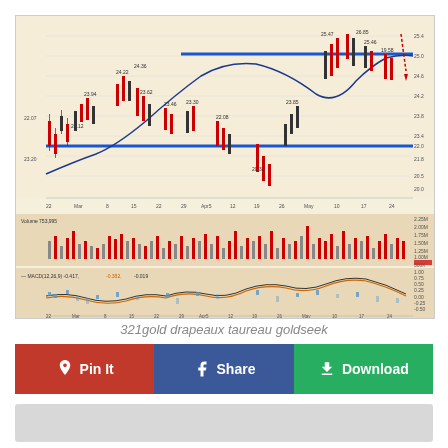[Figure (continuous-plot): Stock price chart for a gold-related security showing candlestick price action from February to late May, with two horizontal blue support/resistance lines at approximately 22.0 and 25.0, a blue moving average curve, red dashed arrow pointing downward, price labels including 22.07, 23.20, 24.12, 23.94, 24.22, 24.36, 23.62, 23.46, 23.30, 22.08, 20.33, 23.85, 25.47, 26.85, 25.46, 19.58. Below the price chart is a volume histogram panel with red/gray bars labeled Volume 753,995, and a MACD(12,26,9) indicator panel showing orange and black oscillator lines with blue histogram bars, labeled -0.417, -0.382, -0.019. X-axis shows dates: 22, Mar, 8, 15, 22, 29, Apr5, 12, 19, 26, May, 10, 17, 24. Y-axis shows price levels 20.0 through 25.4 and volume levels 0 through 2.25M.]
321gold drapeaux taureau goldseek
[Figure (infographic): Three social sharing buttons side by side: red 'Pin It' button with Pinterest icon, blue 'Share' button with Facebook icon, green 'Download' button with cloud/download icon.]